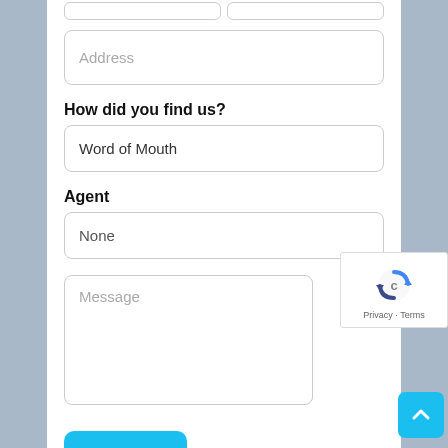Address
How did you find us?
Word of Mouth
Agent
None
Message
[Figure (other): reCAPTCHA widget with logo and Privacy/Terms links]
Submit